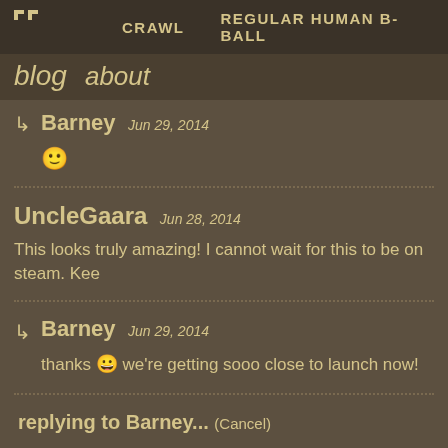CRAWL   REGULAR HUMAN B-BALL
blog  about
Barney  Jun 29, 2014
🙂
UncleGaara  Jun 28, 2014
This looks truly amazing! I cannot wait for this to be on steam. Kee
Barney  Jun 29, 2014
thanks 😀 we're getting sooo close to launch now!
replying to Barney... (Cancel)